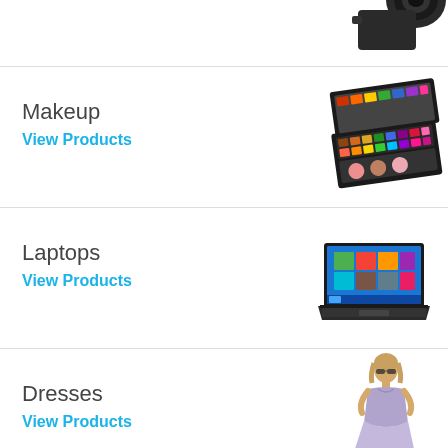[Figure (photo): Camera lens product image partially visible at top right]
Makeup
View Products
[Figure (photo): Makeup palette set product image on right side]
Laptops
View Products
[Figure (photo): Laptop computer product image on right side]
Dresses
View Products
[Figure (photo): Woman in lavender dress product image on right side]